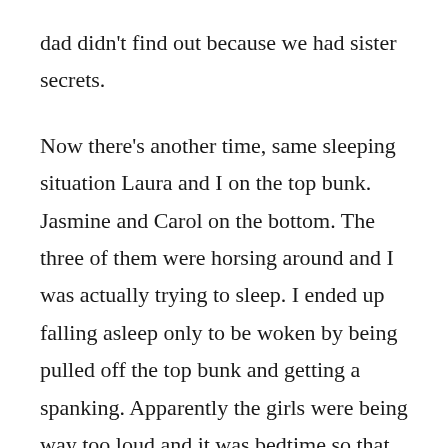dad didn't find out because we had sister secrets.
Now there's another time, same sleeping situation Laura and I on the top bunk. Jasmine and Carol on the bottom. The three of them were horsing around and I was actually trying to sleep. I ended up falling asleep only to be woken by being pulled off the top bunk and getting a spanking. Apparently the girls were being way too loud and it was bedtime so that made Dad mad because they weren't settling